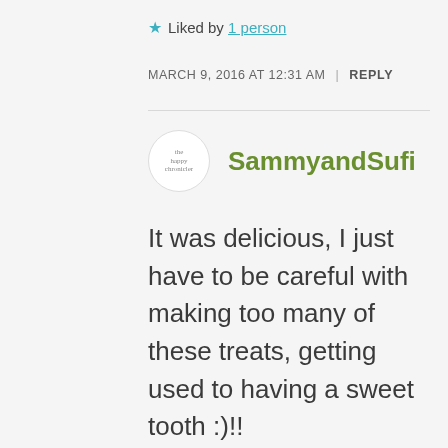★ Liked by 1 person
MARCH 9, 2016 AT 12:31 AM  |  REPLY
SammyandSufi
It was delicious, I just have to be careful with making too many of these treats, getting used to having a sweet tooth :)!!